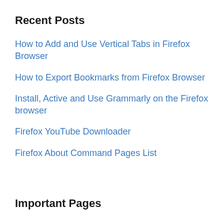Recent Posts
How to Add and Use Vertical Tabs in Firefox Browser
How to Export Bookmarks from Firefox Browser
Install, Active and Use Grammarly on the Firefox browser
Firefox YouTube Downloader
Firefox About Command Pages List
Important Pages
About